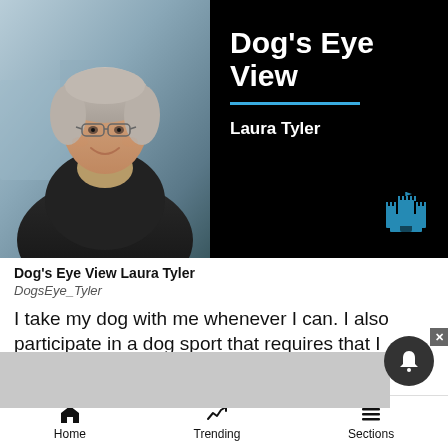[Figure (photo): Hero image: Left half shows a photo of an older woman with gray hair and glasses, smiling, wearing a dark jacket, photographed outdoors with blurred background. Right half is black background with white bold text 'Dog's Eye View', a cyan horizontal rule, white bold text 'Laura Tyler', and a small blue castle icon in the lower right.]
Dog's Eye View Laura Tyler
DogsEye_Tyler
I take my dog with me whenever I can. I also participate in a dog sport that requires that I manage my do... ly resear... hen I